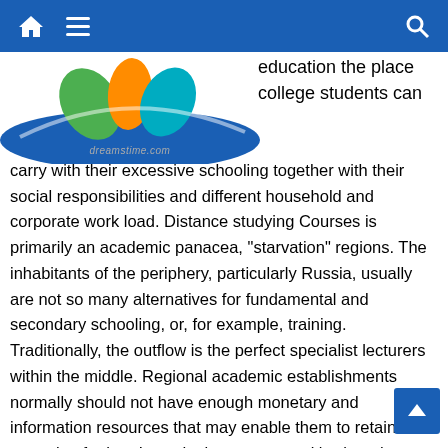Navigation bar with home, menu, and search icons
[Figure (logo): Colorful logo with green, orange, and teal shapes over a blue arc, with dreamstime.com watermark]
education the place college students can carry with their excessive schooling together with their social responsibilities and different household and corporate work load. Distance studying Courses is primarily an academic panacea, "starvation" regions. The inhabitants of the periphery, particularly Russia, usually are not so many alternatives for fundamental and secondary schooling, or, for example, training. Traditionally, the outflow is the perfect specialist lecturers within the middle. Regional academic establishments normally should not have enough monetary and information resources that may enable them to retain or appeal to further. In such circumstances, it's clear that universities, companies, and commercial coaching facilities need to create, develop and promote distance learning